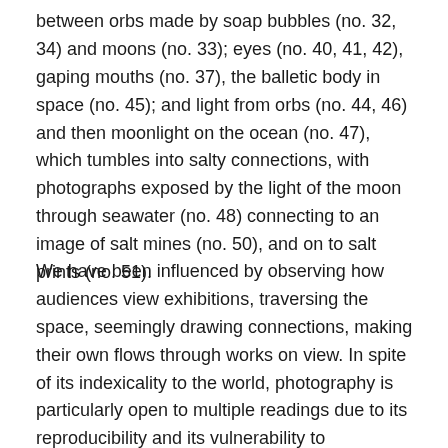between orbs made by soap bubbles (no. 32, 34) and moons (no. 33); eyes (no. 40, 41, 42), gaping mouths (no. 37), the balletic body in space (no. 45); and light from orbs (no. 44, 46) and then moonlight on the ocean (no. 47), which tumbles into salty connections, with photographs exposed by the light of the moon through seawater (no. 48) connecting to an image of salt mines (no. 50), and on to salt prints (no. 51).
We have been influenced by observing how audiences view exhibitions, traversing the space, seemingly drawing connections, making their own flows through works on view. In spite of its indexicality to the world, photography is particularly open to multiple readings due to its reproducibility and its vulnerability to manipulation. A key to this permeability is the intention of the photographer, which can become opaque over time. For example